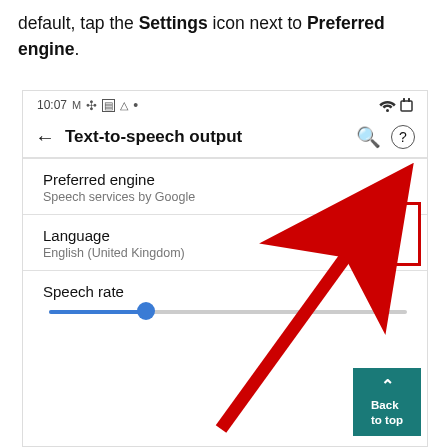default, tap the Settings icon next to Preferred engine.
[Figure (screenshot): Android Text-to-speech output settings screen showing Preferred engine with Settings (gear) icon highlighted in a red box, Language set to English (United Kingdom), and Speech rate with a slider. A red arrow points to the gear icon. A teal Back to top button is visible.]